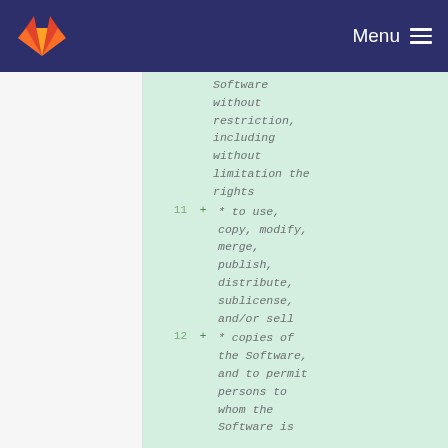GitLab | Menu
Software without restriction, including without limitation the rights
11 + * to use, copy, modify, merge, publish, distribute, sublicense, and/or sell
12 + * copies of the Software, and to permit persons to whom the Software is